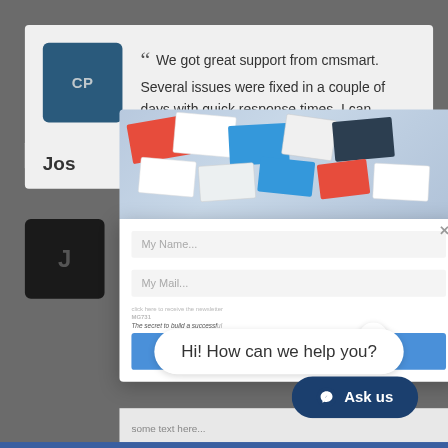[Figure (screenshot): Screenshot of a website showing a customer review with 'CP' avatar, a modal popup with name/email fields and JOIN NOW button, and a chat widget with 'Hi! How can we help you?' bubble and 'Ask us' button.]